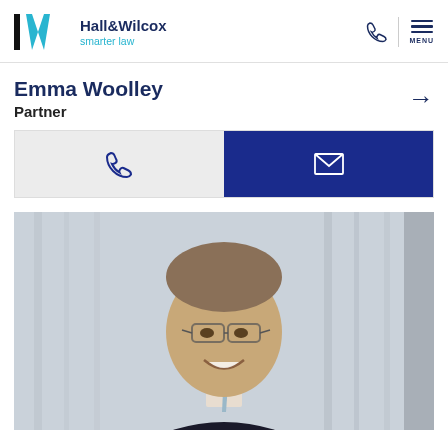[Figure (logo): Hall & Wilcox smarter law logo with stylized HW lettermark in black and blue]
Emma Woolley
Partner
[Figure (infographic): Two contact buttons: phone icon on grey background and email/envelope icon on dark navy blue background]
[Figure (photo): Professional headshot of a smiling man with glasses, grey-brown hair, wearing a dark suit and light blue tie, with a blurred city building background]